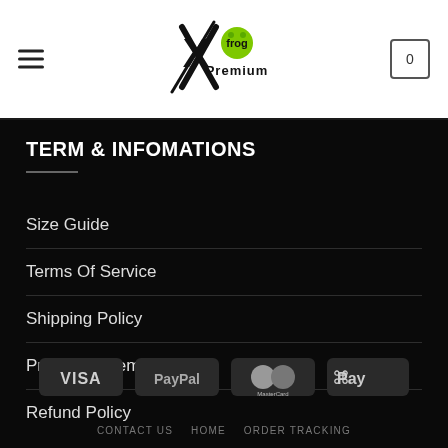[Figure (logo): Xfrog Premium logo with stylized X and frog graphic in green and black]
TERM & INFOMATIONS
Size Guide
Terms Of Service
Shipping Policy
Privacy Statement
Refund Policy
[Figure (infographic): Payment method badges: VISA, PayPal, MasterCard, Apple Pay]
CONTACT US  HOME  ORDER TRACKING